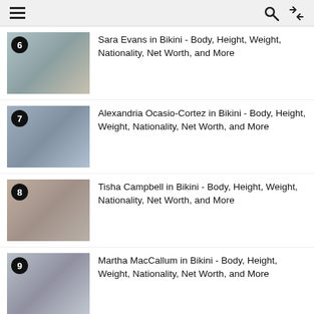≡  🔍  ⇄
Sara Evans in Bikini - Body, Height, Weight, Nationality, Net Worth, and More
Alexandria Ocasio-Cortez in Bikini - Body, Height, Weight, Nationality, Net Worth, and More
Tisha Campbell in Bikini - Body, Height, Weight, Nationality, Net Worth, and More
Martha MacCallum in Bikini - Body, Height, Weight, Nationality, Net Worth, and More